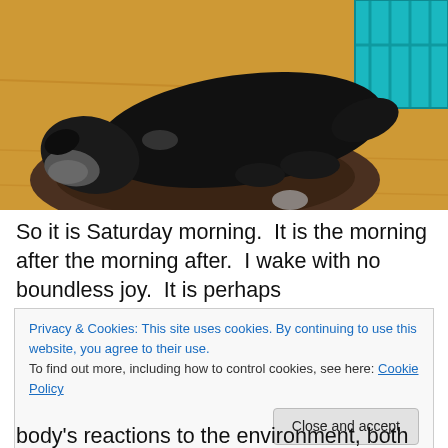[Figure (photo): A large black dog lying curled up on a round dark brown dog bed on a wooden floor. A teal blue plastic crate is visible in the upper right corner.]
So it is Saturday morning.  It is the morning after the morning after.  I wake with no boundless joy.  It is perhaps
Privacy & Cookies: This site uses cookies. By continuing to use this website, you agree to their use.
To find out more, including how to control cookies, see here: Cookie Policy
body's reactions to the environment, both the physical and